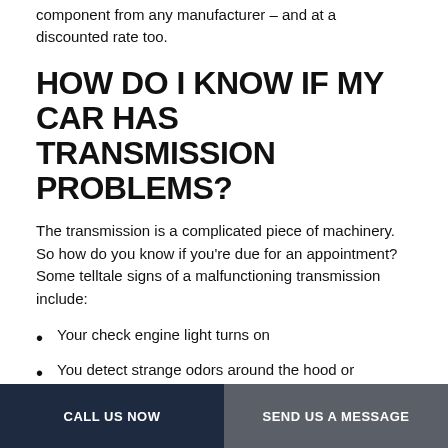component from any manufacturer – and at a discounted rate too.
HOW DO I KNOW IF MY CAR HAS TRANSMISSION PROBLEMS?
The transmission is a complicated piece of machinery. So how do you know if you're due for an appointment? Some telltale signs of a malfunctioning transmission include:
Your check engine light turns on
You detect strange odors around the hood or underbody of the car
Your car stalls when you press the gas pedal
You detect fluid stains under your vehicle
CALL US NOW   SEND US A MESSAGE